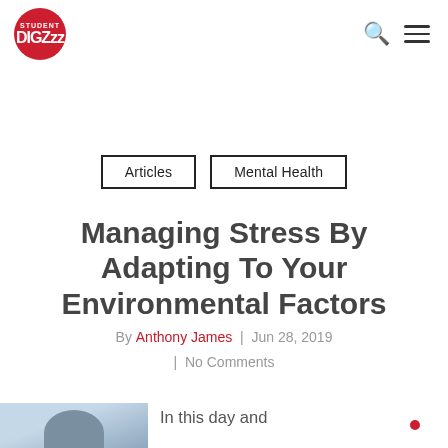Student DIGZzz — logo and navigation icons
Articles | Mental Health
Managing Stress By Adapting To Your Environmental Factors
By Anthony James | Jun 28, 2019 | No Comments
[Figure (photo): Photo of a person from behind, blurred background, partial view at bottom of page]
In this day and